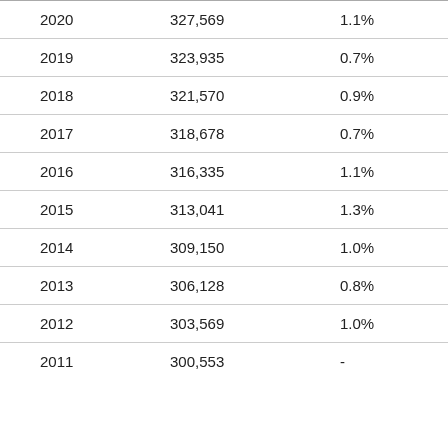| 2020 | 327,569 | 1.1% |
| 2019 | 323,935 | 0.7% |
| 2018 | 321,570 | 0.9% |
| 2017 | 318,678 | 0.7% |
| 2016 | 316,335 | 1.1% |
| 2015 | 313,041 | 1.3% |
| 2014 | 309,150 | 1.0% |
| 2013 | 306,128 | 0.8% |
| 2012 | 303,569 | 1.0% |
| 2011 | 300,553 | - |